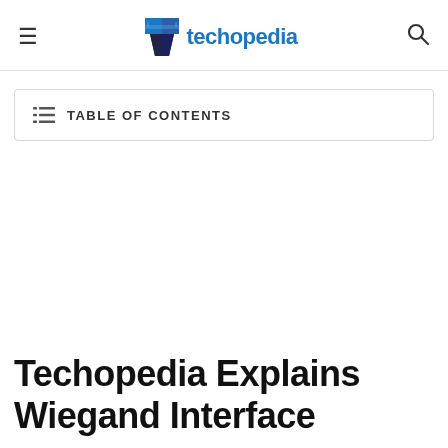techopedia
TABLE OF CONTENTS
Techopedia Explains Wiegand Interface